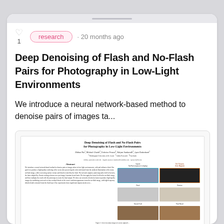research · 20 months ago
Deep Denoising of Flash and No-Flash Pairs for Photography in Low-Light Environments
We introduce a neural network-based method to denoise pairs of images ta...
[Figure (screenshot): Thumbnail preview of the research paper 'Deep Denoising of Flash and No-Flash Pairs for Photography in Low-Light Environments', showing the paper's abstract and sample images demonstrating the method.]